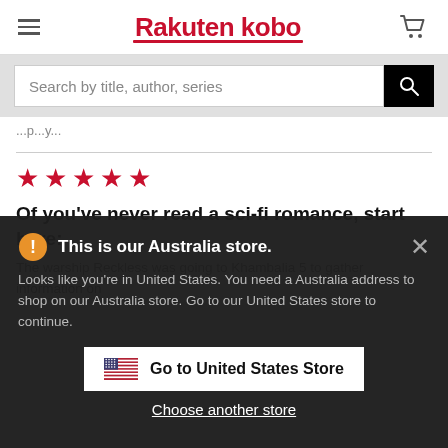Rakuten kobo
Search by title, author, series
Of you've never read a sci-fi romance, start here:
The warship Reckless was going to Khambalia 5 to gather information on
This is our Australia store.
Looks like you're in United States. You need a Australia address to shop on our Australia store. Go to our United States store to continue.
Go to United States Store
Choose another store